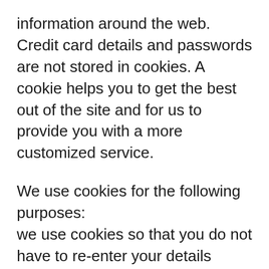information around the web. Credit card details and passwords are not stored in cookies. A cookie helps you to get the best out of the site and for us to provide you with a more customized service.
We use cookies for the following purposes:
we use cookies so that you do not have to re-enter your details every time you visit our site;
and we use cookies to track how our site is used and to improve and